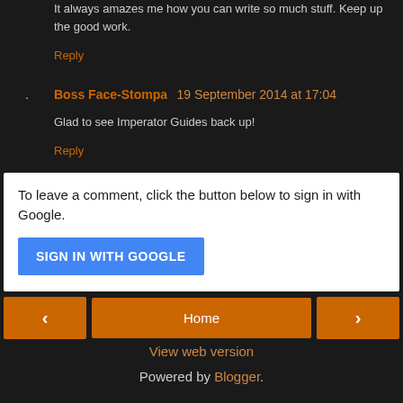It always amazes me how you can write so much stuff. Keep up the good work.
Reply
Boss Face-Stompa  19 September 2014 at 17:04
Glad to see Imperator Guides back up!
Reply
To leave a comment, click the button below to sign in with Google.
SIGN IN WITH GOOGLE
Home
View web version
Powered by Blogger.